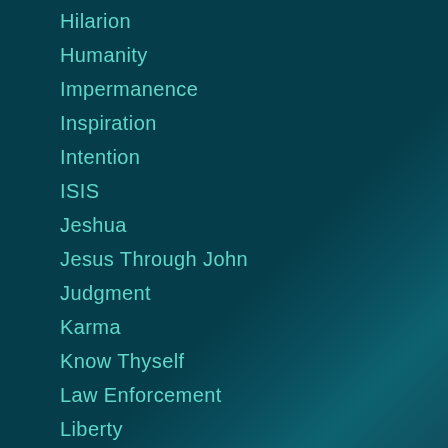Hilarion
Humanity
Impermanence
Inspiration
Intention
ISIS
Jeshua
Jesus Through John
Judgment
Karma
Know Thyself
Law Enforcement
Liberty
Lightworkers
Local Community
Love
Meditation
Meredith Murphy